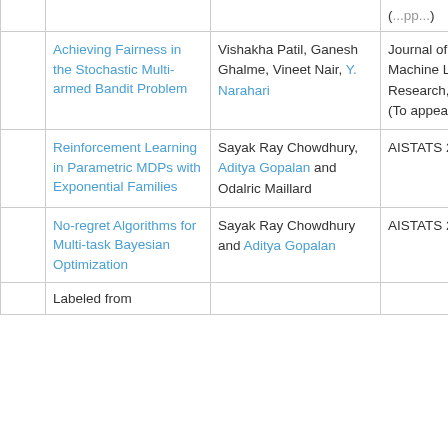|  | Title | Authors | Venue |
| --- | --- | --- | --- |
|  | Achieving Fairness in the Stochastic Multi-armed Bandit Problem | Vishakha Patil, Ganesh Ghalme, Vineet Nair, Y. Narahari | Journal of Machine Learning Research, 2021 (To appear) |
|  | Reinforcement Learning in Parametric MDPs with Exponential Families | Sayak Ray Chowdhury, Aditya Gopalan and Odalric Maillard | AISTATS 2021 |
|  | No-regret Algorithms for Multi-task Bayesian Optimization | Sayak Ray Chowdhury and Aditya Gopalan | AISTATS 2021 |
|  | Labeled from |  |  |